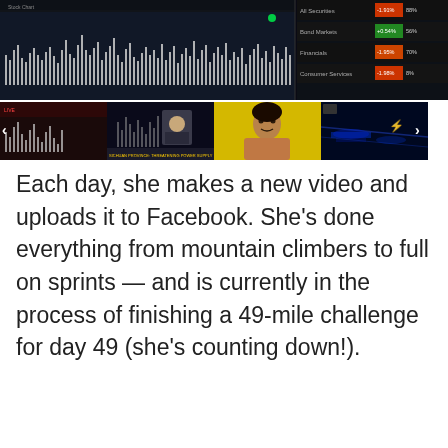[Figure (screenshot): Main large screenshot showing a financial chart with white bars on dark background on the left, and a green market data table on the right showing entries like All Securities, Bond Markets, Financials, Consumer Services with percentage values]
[Figure (screenshot): Thumbnail strip of four video thumbnails: (1) dark financial chart screen with arrow left nav, (2) news broadcast with reporter and chart overlay text 'SICHUAN PROVINCE: THREATENING POWER SUPPLY', (3) woman with yellow background, (4) blue night scene with arrow right nav]
Each day, she makes a new video and uploads it to Facebook. She's done everything from mountain climbers to full on sprints — and is currently in the process of finishing a 49-mile challenge for day 49 (she's counting down!).